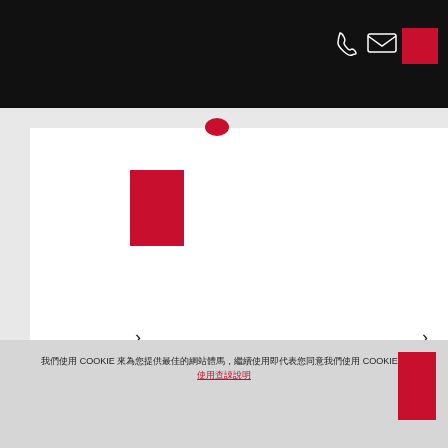Navigation bar with phone, mail icons and red button
[Figure (screenshot): Carousel cards with red accent rectangles and navigation arrows on a light gray background, with a scrollbar indicator below]
【Oak Brook台灣官方網站】
+886 2 8729 9233
[Figure (other): Black circular scroll-to-top button with upward chevron arrow]
我們使用 COOKIE 來為您提供最佳的網站體驗，繼續使用即代表您同意我們使用 COOKIE。